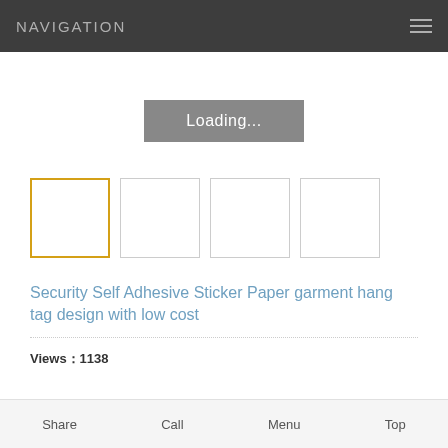NAVIGATION
[Figure (screenshot): Loading button placeholder for product image]
[Figure (screenshot): Four product thumbnail images, the first with a gold/yellow border indicating selection]
Security Self Adhesive Sticker Paper garment hang tag design with low cost
Views：1138
Share   Call   Menu   Top